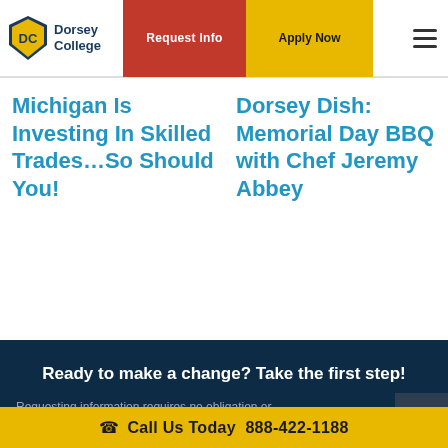Dorsey College | Request Info | Apply Now
Michigan Is Investing In Skilled Trades…So Should You!
Dorsey Dish: Memorial Day BBQ with Chef Jeremy Abbey
Ready to make a change? Take the first step!
Requesting information requires no obligation or
Call Us Today 888-422-1188